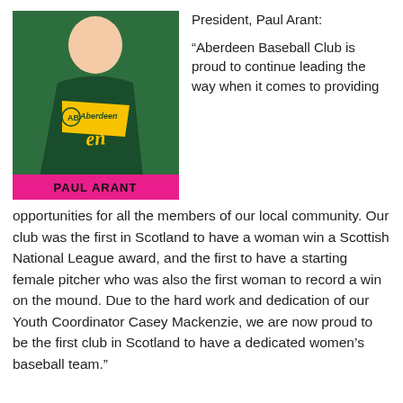[Figure (photo): Baseball card style photo of Paul Arant wearing a dark green Aberdeen baseball uniform with yellow accents. The card has a pink/magenta banner at the bottom reading 'PAUL ARANT'.]
President, Paul Arant:
“Aberdeen Baseball Club is proud to continue leading the way when it comes to providing opportunities for all the members of our local community. Our club was the first in Scotland to have a woman win a Scottish National League award, and the first to have a starting female pitcher who was also the first woman to record a win on the mound. Due to the hard work and dedication of our Youth Coordinator Casey Mackenzie, we are now proud to be the first club in Scotland to have a dedicated women’s baseball team.”